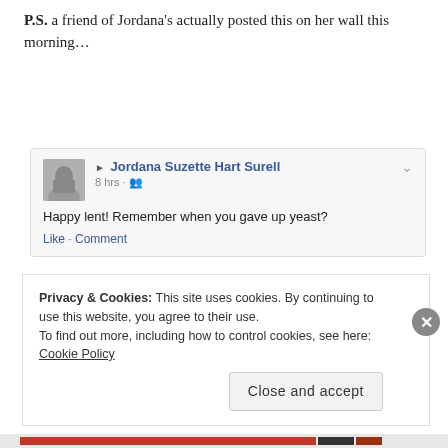P.S.  a friend of Jordana's actually posted this on her wall this morning…
[Figure (screenshot): Screenshot of a Facebook post by Jordana Suzette Hart Surell, posted 8 hrs ago, reading: 'Happy lent! Remember when you gave up yeast?' with Like and Comment options.]
YEAST!  <i snorted>
Privacy & Cookies: This site uses cookies. By continuing to use this website, you agree to their use.
To find out more, including how to control cookies, see here: Cookie Policy
Close and accept